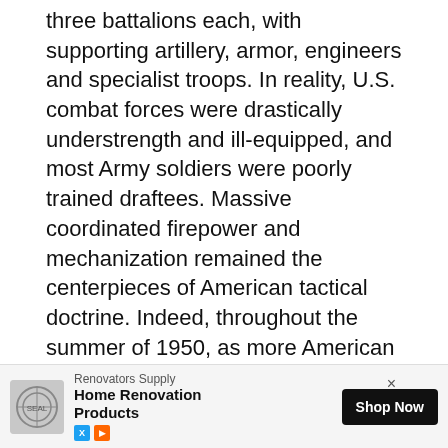three battalions each, with supporting artillery, armor, engineers and specialist troops. In reality, U.S. combat forces were drastically understrength and ill-equipped, and most Army soldiers were poorly trained draftees. Massive coordinated firepower and mechanization remained the centerpieces of American tactical doctrine. Indeed, throughout the summer of 1950, as more American divisions were fed into the Pusan meat grinder, it was largely the brute force of artillery and air power that checked the North Koreans.

The NKPA was purpose-built and bountifully equipped by the Soviet Union for the sole mission of presenting the West with a fait accompli. An armored shock attack was expected to quickly
[Figure (other): Advertisement banner for Renovators Supply Home Renovation Products with Shop Now button, close button (×), and social media icons.]